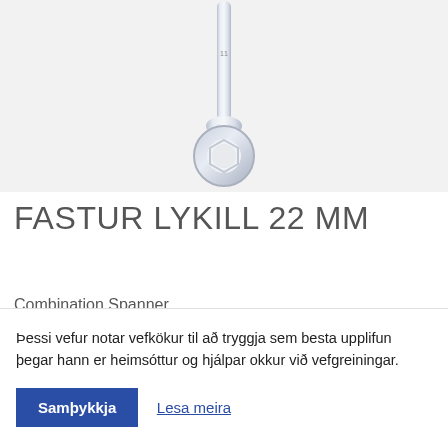[Figure (photo): A combination spanner / wrench 22mm photographed vertically, chrome finish, showing the ring end at the bottom on a light grey background.]
FASTUR LYKILL 22 MM
Combination Spanner
22 mm
Þessi vefur notar vefkökur til að tryggja sem besta upplifun þegar hann er heimsóttur og hjálpar okkur við vefgreiningar.
Samþykkja
Lesa meira